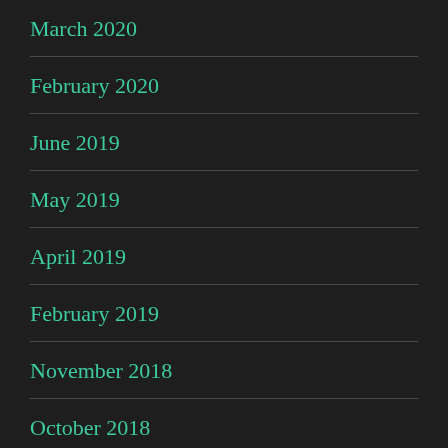March 2020
February 2020
June 2019
May 2019
April 2019
February 2019
November 2018
October 2018